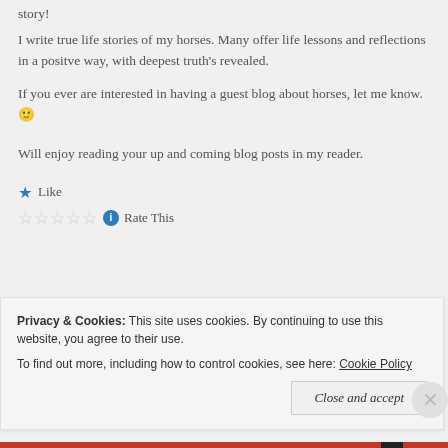story!
I write true life stories of my horses. Many offer life lessons and reflections in a positve way, with deepest truth's revealed.
If you ever are interested in having a guest blog about horses, let me know. 🙂
Will enjoy reading your up and coming blog posts in my reader.
★ Like
☆☆☆☆☆ ℹ Rate This
Privacy & Cookies: This site uses cookies. By continuing to use this website, you agree to their use. To find out more, including how to control cookies, see here: Cookie Policy
Close and accept